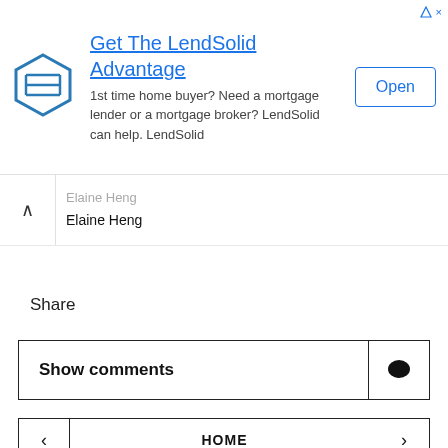[Figure (other): LendSolid advertisement banner with logo, title 'Get The LendSolid Advantage', body text about mortgage services, and an Open button]
Elaine Heng
Elaine Heng
Share
Show comments
HOME
VIEW WEB VERSION